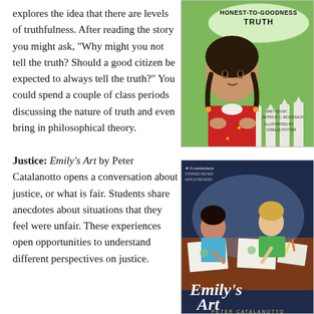explores the idea that there are levels of truthfulness. After reading the story you might ask, “Why might you not tell the truth? Should a good citizen be expected to always tell the truth?” You could spend a couple of class periods discussing the nature of truth and even bring in philosophical theory.
[Figure (illustration): Book cover of 'Honest-to-Goodness Truth' by Patricia C. McKissack, illustrated by Giselle Potter. Shows a girl in traditional dress with a speech bubble containing the title on a green background.]
Justice: Emily’s Art by Peter Catalanotto opens a conversation about justice, or what is fair. Students share anecdotes about situations that they feel were unfair. These experiences open opportunities to understand different perspectives on justice.
[Figure (illustration): Book cover of 'Emily’s Art' by Peter Catalanotto. Shows children drawing at a table, with the title in italic script on a dark blue background.]